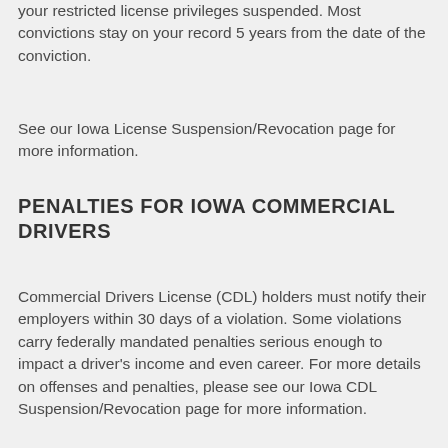your restricted license privileges suspended. Most convictions stay on your record 5 years from the date of the conviction.
See our Iowa License Suspension/Revocation page for more information.
PENALTIES FOR IOWA COMMERCIAL DRIVERS
Commercial Drivers License (CDL) holders must notify their employers within 30 days of a violation. Some violations carry federally mandated penalties serious enough to impact a driver's income and even career. For more details on offenses and penalties, please see our Iowa CDL Suspension/Revocation page for more information.